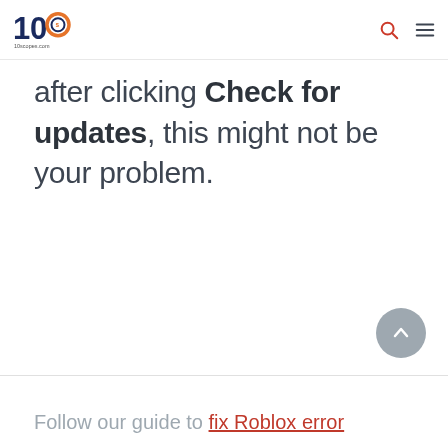10scopes.com
after clicking Check for updates, this might not be your problem.
Follow our guide to fix Roblox error